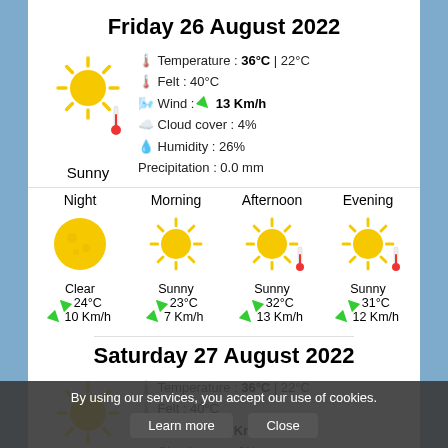Friday 26 August 2022
Temperature : 36°C | 22°C
Felt : 40°C
Wind : 13 Km/h
Cloud cover : 4%
Humidity : 26%
Precipitation : 0.0 mm
Night
Clear
24°C
10 Km/h
Morning
Sunny
23°C
7 Km/h
Afternoon
Sunny
32°C
13 Km/h
Evening
Sunny
31°C
12 Km/h
Saturday 27 August 2022
Temperature : 36°C | 22°C
Felt : 40°C
Wind : 11 Km/h
Cloud cover : 6%
By using our services, you accept our use of cookies.